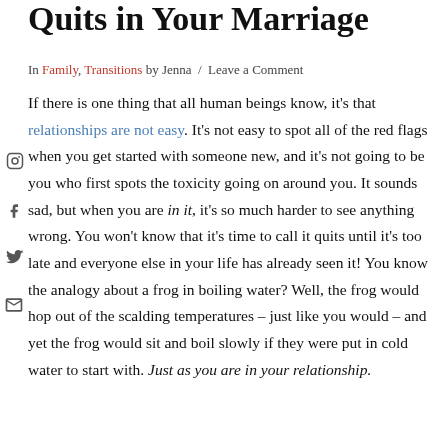Quits in Your Marriage
In Family, Transitions by Jenna / Leave a Comment
If there is one thing that all human beings know, it's that relationships are not easy. It's not easy to spot all of the red flags when you get started with someone new, and it's not going to be you who first spots the toxicity going on around you. It sounds sad, but when you are in it, it's so much harder to see anything wrong. You won't know that it's time to call it quits until it's too late and everyone else in your life has already seen it! You know the analogy about a frog in boiling water? Well, the frog would hop out of the scalding temperatures – just like you would – and yet the frog would sit and boil slowly if they were put in cold water to start with. Just as you are in your relationship.